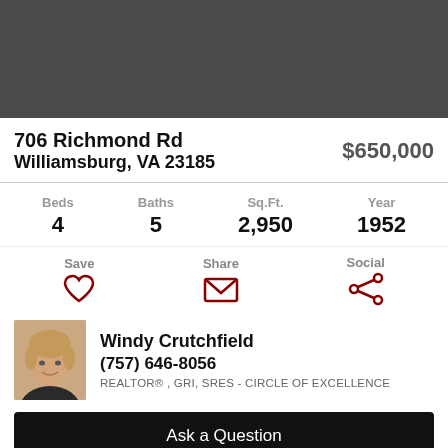[Figure (photo): Dark gray banner image placeholder at top of page]
706 Richmond Rd
Williamsburg, VA 23185
$650,000
Beds 4   Baths 5   Sq.Ft. 2,950   Year 1952
Save  Share  Social
[Figure (photo): Headshot of agent Windy Crutchfield]
Windy Crutchfield
(757) 646-8056
REALTOR® , GRI, SRES - CIRCLE OF EXCELLENCE
Ask a Question